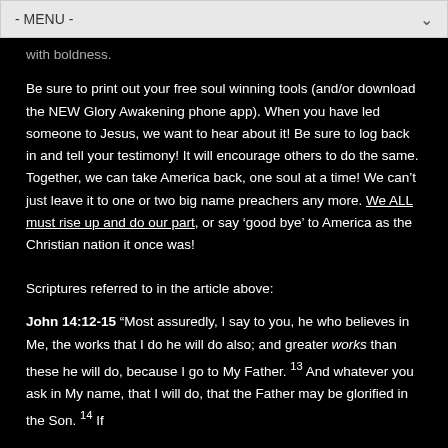- MENU -
with boldness.
Be sure to print out your free soul winning tools (and/or download the NEW Glory Awakening phone app). When you have led someone to Jesus, we want to hear about it! Be sure to log back in and tell your testimony! It will encourage others to do the same. Together, we can take America back, one soul at a time! We can’t just leave it to one or two big name preachers any more. We ALL must rise up and do our part, or say ‘good bye’ to America as the Christian nation it once was!
Scriptures referred to in the article above:
John 14:12-15 “Most assuredly, I say to you, he who believes in Me, the works that I do he will do also; and greater works than these he will do, because I go to My Father. 13 And whatever you ask in My name, that I will do, that the Father may be glorified in the Son. 14 If